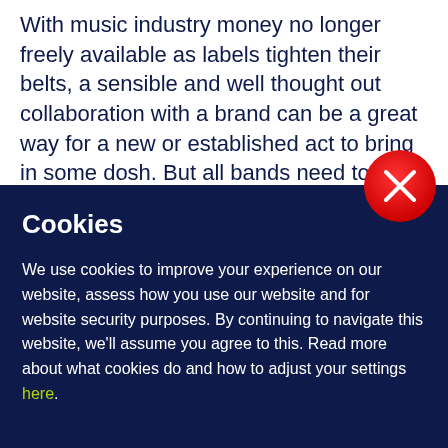With music industry money no longer freely available as labels tighten their belts, a sensible and well thought out collaboration with a brand can be a great way for a new or established act to bring in some dosh. But all bands need to be
[Figure (other): Red circular close/dismiss button with white X symbol, positioned at top-right of the cookie banner overlay]
Cookies
We use cookies to improve your experience on our website, assess how you use our website and for website security purposes. By continuing to navigate this website, we'll assume you agree to this. Read more about what cookies do and how to adjust your settings here.